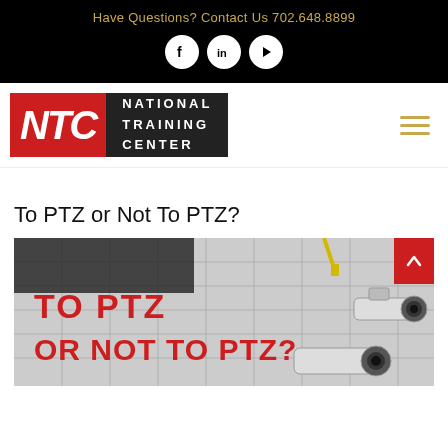Have Questions? Contact Us 702.648.8899
[Figure (logo): NTC National Training Center logo with red and black background]
To PTZ or Not To PTZ?
[Figure (photo): Photo of security cameras on a ceiling with red bold text overlay reading 'TO PTZ OR NOT TO PTZ?']